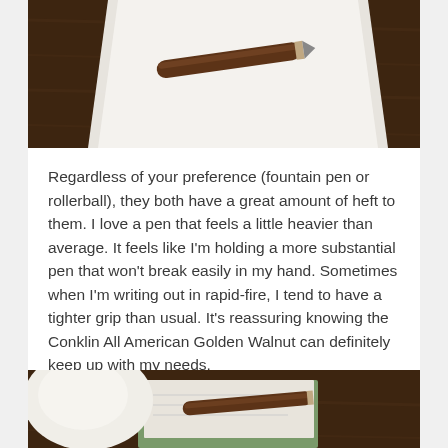[Figure (photo): A wooden pen resting on white paper on a dark wooden surface, photographed from above.]
Regardless of your preference (fountain pen or rollerball), they both have a great amount of heft to them.  I love a pen that feels a little heavier than average.  It feels like I'm holding a more substantial pen that won't break easily in my hand.  Sometimes when I'm writing out in rapid-fire, I tend to have a tighter grip than usual.  It's reassuring knowing the Conklin All American Golden Walnut can definitely keep up with my needs.
[Figure (photo): A white rounded object and a wooden pen resting on a green notebook on a dark surface, photographed from above.]